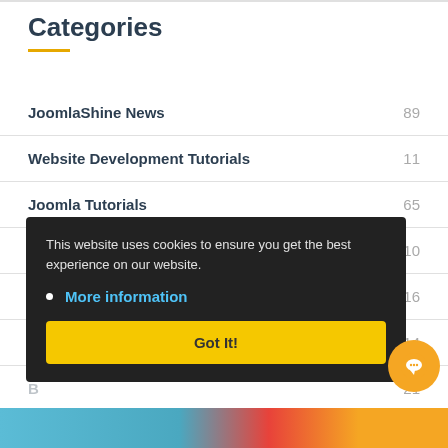Categories
JoomlaShine News  89
Website Development Tutorials  11
Joomla Tutorials  65
Joomla Story  10
Joomla SEO  16
[partially visible]  14
[partially visible]  21
This website uses cookies to ensure you get the best experience on our website.
• More information
Got It!
[Figure (illustration): Partial colorful image strip at bottom of page]